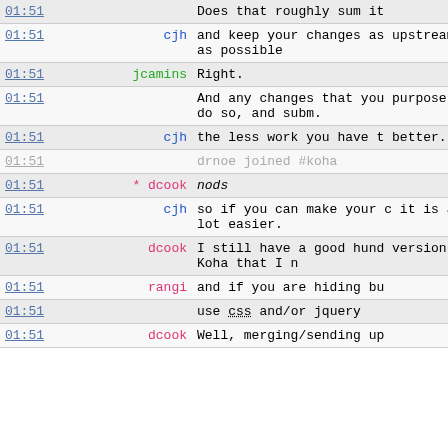| time | nick | message |
| --- | --- | --- |
| 01:51 |  | Does that roughly sum it |
| 01:51 | cjh | and keep your changes as upstream as possible |
| 01:51 | jcamins | Right. |
| 01:51 |  | And any changes that you purpose, do so, and subm. |
| 01:51 | cjh | the less work you have t better. |
| 01:51 |  | drnoe joined #koha |
| 01:51 | * dcook | nods |
| 01:51 | cjh | so if you can make your c it is a lot easier. |
| 01:51 | dcook | I still have a good hund version of Koha that I n |
| 01:51 | rangi | and if you are hiding bu |
| 01:51 |  | use css and/or jquery |
| 01:51 | dcook | Well, merging/sending up |